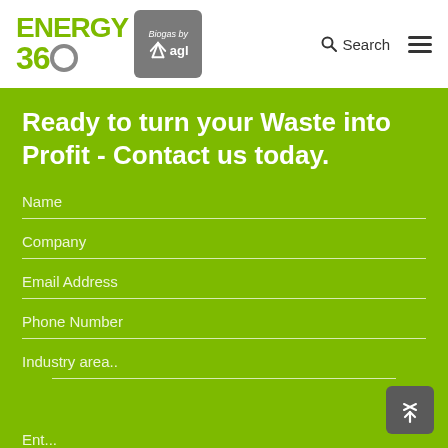[Figure (logo): Energy 360 logo with 'Biogas by agl' badge]
Ready to turn your Waste into Profit - Contact us today.
Name
Company
Email Address
Phone Number
Industry area..